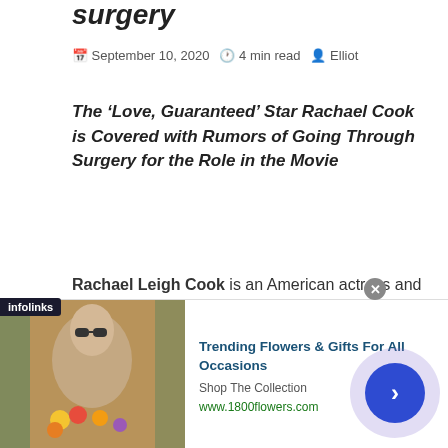surgery
September 10, 2020  4 min read  Elliot
The ‘Love, Guaranteed’ Star Rachael Cook is Covered with Rumors of Going Through Surgery for the Role in the Movie
Rachael Leigh Cook is an American actress and a model gaining fame with her awesome roles in numerous movies. Besides, she is also a producer. Most of her famous films are The BabySitters Club, She’s All That, and Josie and The Pussycats. The actress is also known for her gorgeous looks from
[Figure (infographic): Advertisement banner for 1800flowers.com showing a woman holding flowers, with the headline Trending Flowers & Gifts For All Occasions, Shop The Collection, www.1800flowers.com, and a navigation arrow button. Infolinks label visible.]